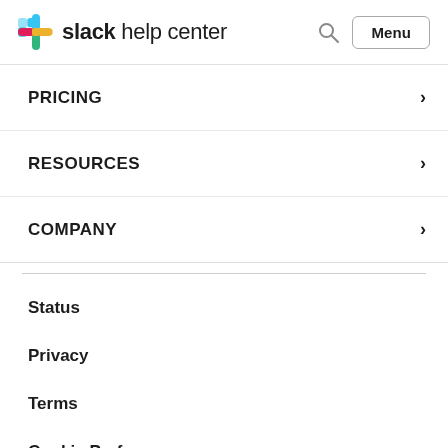slack help center
PRICING
RESOURCES
COMPANY
Status
Privacy
Terms
Cookie Preferences
Contact Us